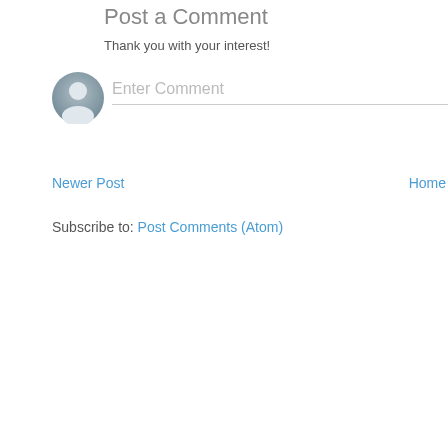Post a Comment
Thank you with your interest!
Enter Comment
Newer Post
Home
Subscribe to: Post Comments (Atom)